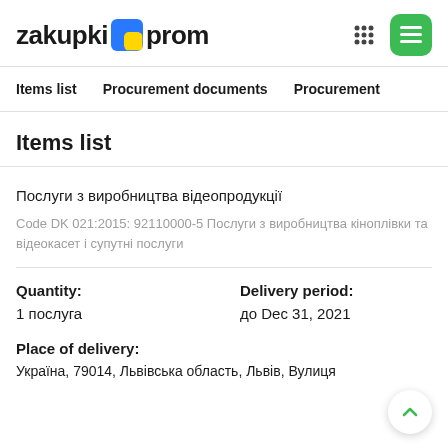zakupki prom
Items list Procurement documents Procurement
Items list
Послуги з виробництва відеопродукції
Code DK 021:2015: 92110000-5 Послуги з виробництва кіноплівки та відеокасет і супутні послуги
Quantity: 1 послуга
Delivery period: до Dec 31, 2021
Place of delivery:
Україна, 79014, Львівська область, Львів, Вулиця